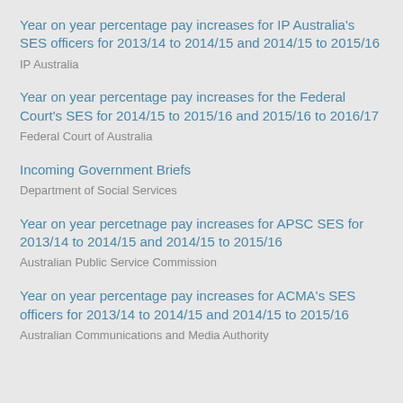Year on year percentage pay increases for IP Australia's SES officers for 2013/14 to 2014/15 and 2014/15 to 2015/16
IP Australia
Year on year percentage pay increases for the Federal Court's SES for 2014/15 to 2015/16 and 2015/16 to 2016/17
Federal Court of Australia
Incoming Government Briefs
Department of Social Services
Year on year percetnage pay increases for APSC SES for 2013/14 to 2014/15 and 2014/15 to 2015/16
Australian Public Service Commission
Year on year percentage pay increases for ACMA's SES officers for 2013/14 to 2014/15 and 2014/15 to 2015/16
Australian Communications and Media Authority